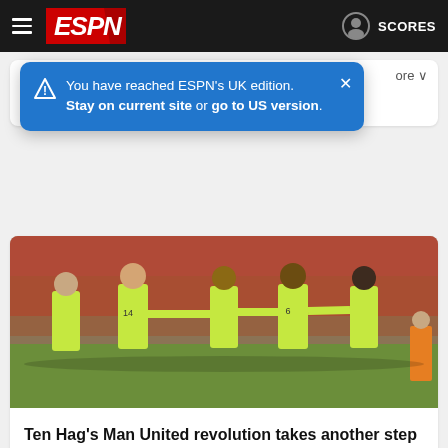ESPN
[Figure (screenshot): Blue popup notification: 'You have reached ESPN's UK edition. Stay on current site or go to US version.' with a close X button]
1d • Mark Ogden
[Figure (photo): Manchester United players in bright yellow-green kits celebrating on the pitch, with a crowd in the background]
Ten Hag's Man United revolution takes another step forward
1d • James Olley
· Liverpool's 9-0 thrashing of Bournemouth: How social media